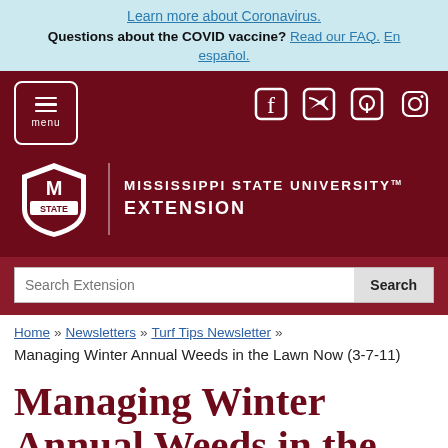Learn more about Coronavirus. Questions about the COVID vaccine? Read our FAQ. En español.
[Figure (screenshot): Mississippi State University Extension website header with maroon branding, menu button, social media icons (Facebook, Twitter, Pinterest, Instagram), MSU logo, and search bar]
Home » Newsletters » Turf Tips Newsletter »
Managing Winter Annual Weeds in the Lawn Now (3-7-11)
Managing Winter Annual Weeds in the Lawn Now (3-7-11)